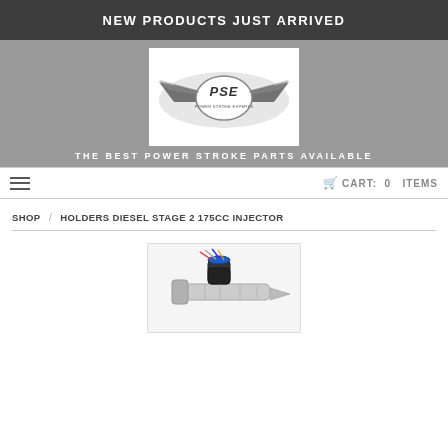NEW PRODUCTS JUST ARRIVED
[Figure (logo): PSE (Power Stroke Experts) logo with stylized wings and shark/lightning bolt emblem on white background]
THE BEST POWER STROKE PARTS AVAILABLE
≡  CART: 0 ITEMS
SHOP / HOLDERS DIESEL STAGE 2 175CC INJECTOR
[Figure (photo): Holders Diesel Stage 2 175cc diesel fuel injector with wiring harness connector on top (blue ring, colored wires) and metallic injector body, displayed on white background]